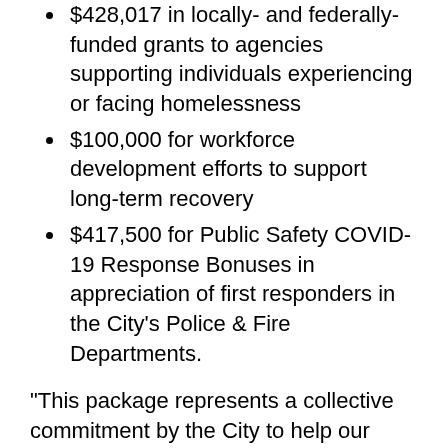$428,017 in locally- and federally-funded grants to agencies supporting individuals experiencing or facing homelessness
$100,000 for workforce development efforts to support long-term recovery
$417,500 for Public Safety COVID-19 Response Bonuses in appreciation of first responders in the City’s Police & Fire Departments.
“This package represents a collective commitment by the City to help our community respond to this pandemic,” said Mayor Kincannon. “In laying out this proposal, we also know needs will continue to evolve. Our response as a City will no doubt need to evolve in turn.”
The Mayor will present her budget to City